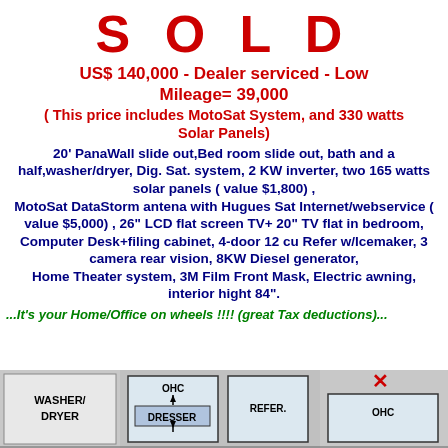S O L D
US$ 140,000 - Dealer serviced - Low Mileage= 39,000
( This price includes MotoSat System, and 330 watts Solar Panels)
20' PanaWall slide out,Bed room slide out, bath and a half,washer/dryer, Dig. Sat. system, 2 KW inverter, two 165 watts solar panels ( value $1,800) , MotoSat DataStorm antena with Hugues Sat Internet/webservice ( value $5,000) , 26" LCD flat screen TV+ 20" TV flat in bedroom, Computer Desk+filing cabinet, 4-door 12 cu Refer w/Icemaker, 3 camera rear vision, 8KW Diesel generator, Home Theater system, 3M Film Front Mask, Electric awning, interior hight 84".
...It's your Home/Office on wheels !!!! (great Tax deductions)...
[Figure (schematic): Floor plan showing WASHER/DRYER area, OHC, DRESSER, REFER., and OHC sections with room layout]